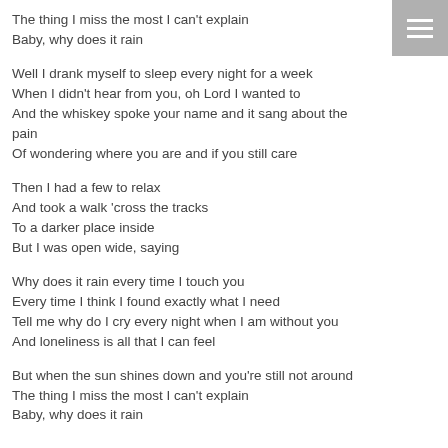The thing I miss the most I can't explain
Baby, why does it rain
Well I drank myself to sleep every night for a week
When I didn't hear from you, oh Lord I wanted to
And the whiskey spoke your name and it sang about the pain
Of wondering where you are and if you still care
Then I had a few to relax
And took a walk 'cross the tracks
To a darker place inside
But I was open wide, saying
Why does it rain every time I touch you
Every time I think I found exactly what I need
Tell me why do I cry every night when I am without you
And loneliness is all that I can feel
But when the sun shines down and you're still not around
The thing I miss the most I can't explain
Baby, why does it rain